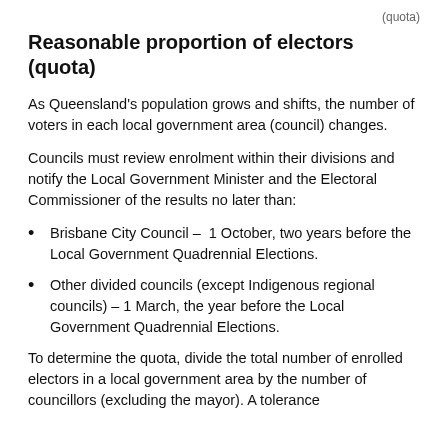(quota)
Reasonable proportion of electors (quota)
As Queensland's population grows and shifts, the number of voters in each local government area (council) changes.
Councils must review enrolment within their divisions and notify the Local Government Minister and the Electoral Commissioner of the results no later than:
Brisbane City Council – 1 October, two years before the Local Government Quadrennial Elections.
Other divided councils (except Indigenous regional councils) – 1 March, the year before the Local Government Quadrennial Elections.
To determine the quota, divide the total number of enrolled electors in a local government area by the number of councillors (excluding the mayor). A tolerance of either 10% or 20% is allowed depending on the council type.